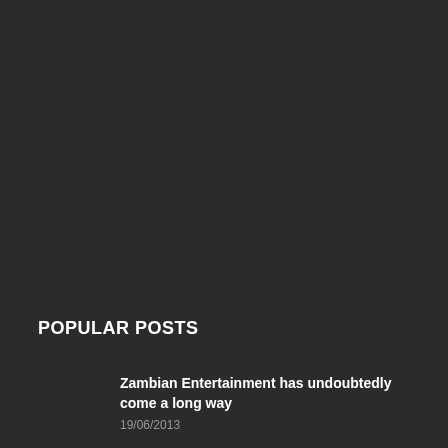POPULAR POSTS
Zambian Entertainment has undoubtedly come a long way
19/06/2013